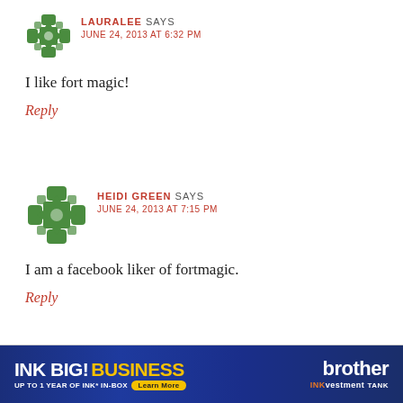[Figure (illustration): Green ornamental avatar icon for user Lauralee]
LAURALEE SAYS
JUNE 24, 2013 AT 6:32 PM
I like fort magic!
Reply
[Figure (illustration): Green ornamental avatar icon for user Heidi Green]
HEIDI GREEN SAYS
JUNE 24, 2013 AT 7:15 PM
I am a facebook liker of fortmagic.
Reply
[Figure (illustration): Brother INKvestment Tank advertisement banner: INK BIG! BUSINESS - UP TO 1 YEAR OF INK* IN-BOX Learn More]